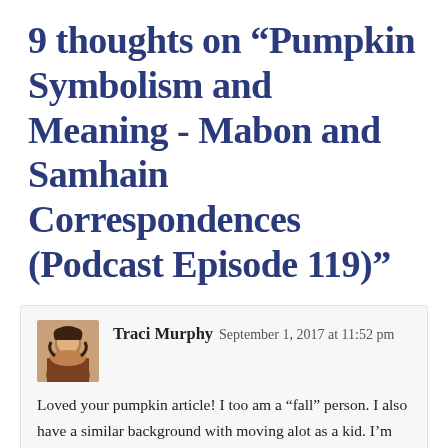9 thoughts on “Pumpkin Symbolism and Meaning - Mabon and Samhain Correspondences (Podcast Episode 119)”
Traci Murphy   September 1, 2017 at 11:52 pm
Loved your pumpkin article! I too am a “fall” person. I also have a similar background with moving alot as a kid. I’m practically a crone now, but growing plants has only been a big thing for me in the last 10 years. I